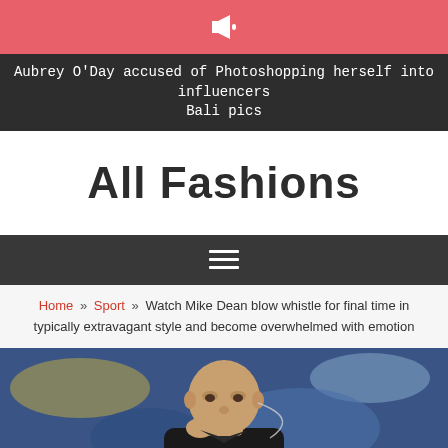📢
Aubrey O'Day accused of Photoshopping herself into influencers Bali pics
All Fashions
☰ (hamburger menu)
Home » Sport » Watch Mike Dean blow whistle for final time in typically extravagant style and become overwhelmed with emotion
[Figure (photo): A bald man in a black shirt, appearing to be a football referee (Mike Dean), with his hand raised near his chin, in a stadium setting with blue and yellow background.]